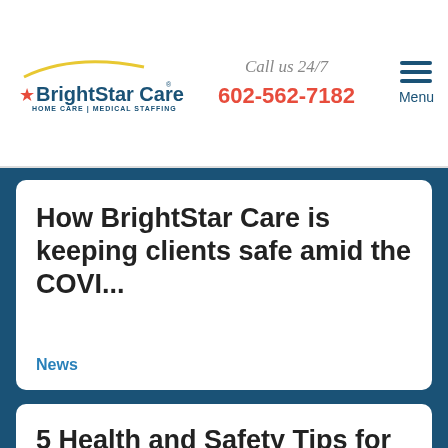BrightStar Care — HOME CARE | MEDICAL STAFFING — A Higher Standard | Call us 24/7 | 602-562-7182 | Menu
How BrightStar Care is keeping clients safe amid the COVI...
News
5 Health and Safety Tips for Gilbert / Mesa